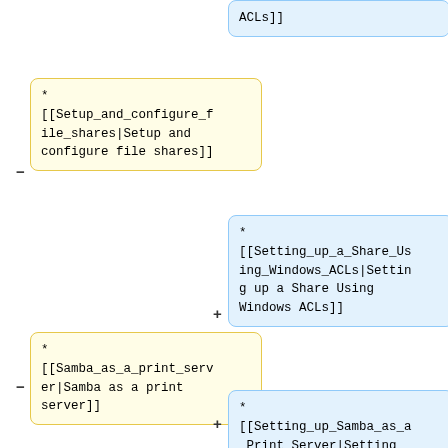[Figure (flowchart): A diff/comparison flowchart showing wiki-style links in yellow boxes (removed/left side) and blue boxes (added/right side). Top blue box: 'ACLs]]'. Yellow box left: '* [[Setup_and_configure_file_shares|Setup and configure file shares]]' with minus marker. Blue box right: '* [[Setting_up_a_Share_Using_Windows_ACLs|Setting up a Share Using Windows ACLs]]' with plus marker. Yellow box left: '* [[Samba_as_a_print_server|Samba as a print server]]' with minus marker. Blue box right: '* [[Setting_up_Samba_as_a_Print_Server|Setting up Samba as a Print Server]]' with plus marker (partially cut off).]